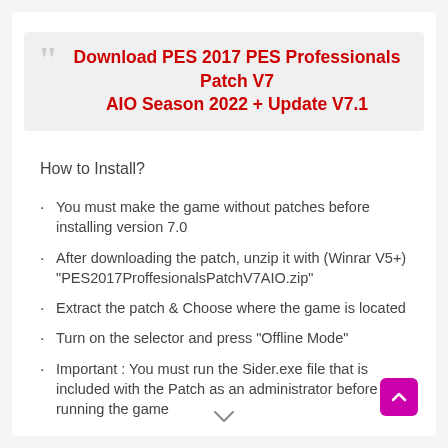Download PES 2017 PES Professionals Patch V7 AIO Season 2022 + Update V7.1
How to Install?
You must make the game without patches before installing version 7.0
After downloading the patch, unzip it with (Winrar V5+) "PES2017ProffesionalsPatchV7AIO.zip"
Extract the patch & Choose where the game is located
Turn on the selector and press "Offline Mode"
Important : You must run the Sider.exe file that is included with the Patch as an administrator before running the game